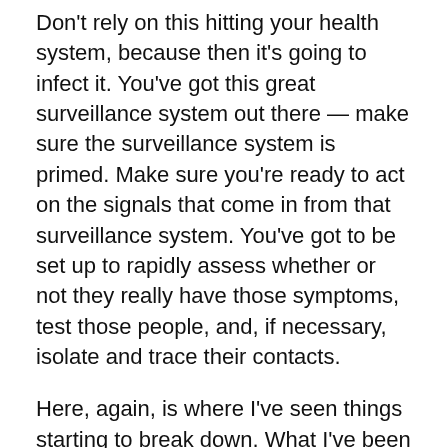Don't rely on this hitting your health system, because then it's going to infect it. You've got this great surveillance system out there — make sure the surveillance system is primed. Make sure you're ready to act on the signals that come in from that surveillance system. You've got to be set up to rapidly assess whether or not they really have those symptoms, test those people, and, if necessary, isolate and trace their contacts.
Here, again, is where I've seen things starting to break down. What I've been told is if you think you've been exposed and have a fever, call your [general practitioner]. We've got to be better than that. If we are going to use our GPs — do they have an emergency line where you can get through? Do they know what to do?